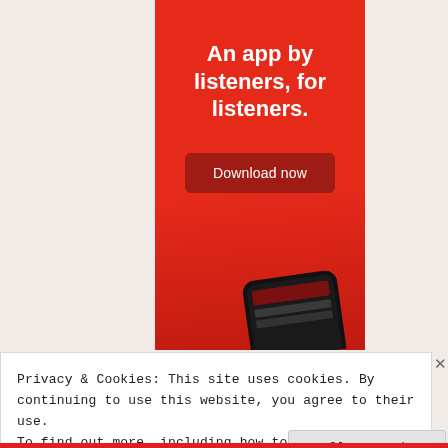[Figure (illustration): Red advertisement banner for a music/podcast listening app. Contains bold white text 'An app by listeners, for listeners.' with a 'Download now' dark red button. The bottom of the banner shows a phone device partially visible.]
Privacy & Cookies: This site uses cookies. By continuing to use this website, you agree to their use.
To find out more, including how to control cookies, see here: Cookie Policy
Close and accept